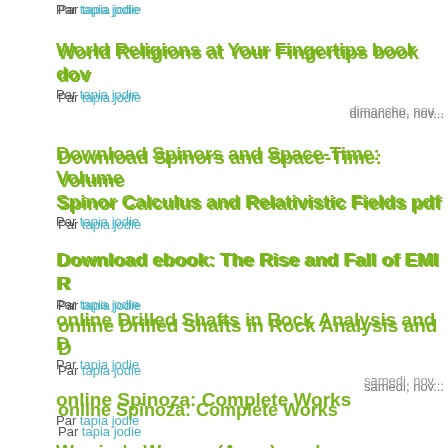Par tapia jodie
World Religions at Your Fingertips book dov...
Par tapia jodie
dimanche, nov...
Download Spinors and Space-Time: Volume... Spinor Calculus and Relativistic Fields pdf...
Par tapia jodie
Download ebook: The Rise and Fall of EMI R...
Par tapia jodie
online Drilled Shafts in Rock Analysis and D...
Par tapia jodie
samedi, nov...
online Spinoza: Complete Works
Par tapia jodie
Warrior's Woman (Avon) epub
Par tapia jodie
The Moonlit Earth ebook download